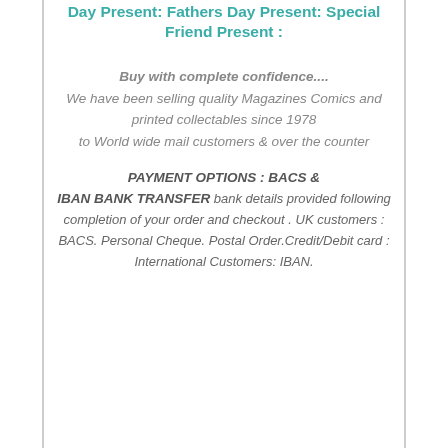Day Present: Fathers Day Present: Special Friend Present :
Buy with complete confidence.... We have been selling quality Magazines Comics and printed collectables since 1978 to World wide mail customers & over the counter
PAYMENT OPTIONS : BACS & IBAN BANK TRANSFER bank details provided following completion of your order and checkout . UK customers : BACS. Personal Cheque. Postal Order.Credit/Debit card : International Customers: IBAN.